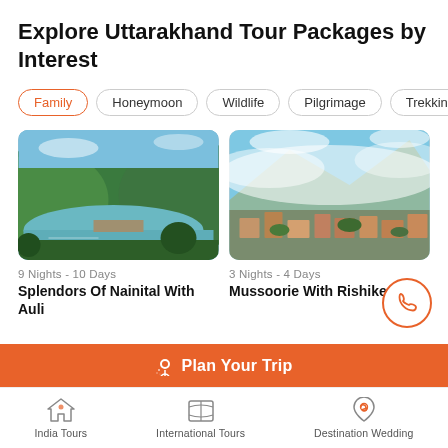Explore Uttarakhand Tour Packages by Interest
Family
Honeymoon
Wildlife
Pilgrimage
Trekking & H
[Figure (photo): Scenic lake and green hills — Nainital]
9 Nights - 10 Days
Splendors Of Nainital With Auli
[Figure (photo): Aerial view of misty hill town — Mussoorie]
3 Nights - 4 Days
Mussoorie With Rishikesh
Plan Your Trip
India Tours
International Tours
Destination Wedding